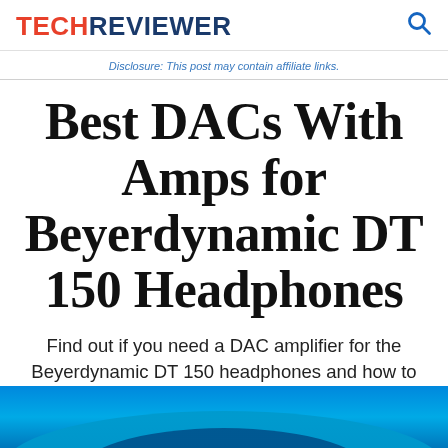TECHREVIEWER
Disclosure: This post may contain affiliate links.
Best DACs With Amps for Beyerdynamic DT 150 Headphones
Find out if you need a DAC amplifier for the Beyerdynamic DT 150 headphones and how to choose the best one.
[Figure (photo): Blue curved headphone close-up at the bottom of the page]